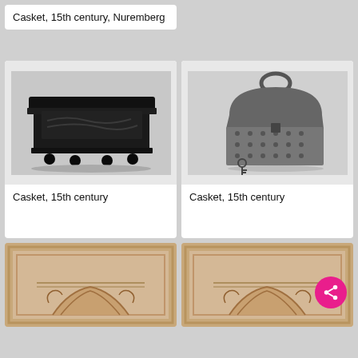Casket, 15th century, Nuremberg
[Figure (photo): Black and white photo of a dark ornate carved wooden casket with ball feet, 15th century]
Casket, 15th century
[Figure (photo): Black and white photo of a metal casket with dome lid, handle ring on top, and a key beside it, 15th century, Nuremberg]
Casket, 15th century
[Figure (photo): Tan/beige colored architectural drawing or relief showing Corinthian column capital]
[Figure (photo): Tan/beige colored architectural drawing or relief showing Corinthian column capital (partial)]